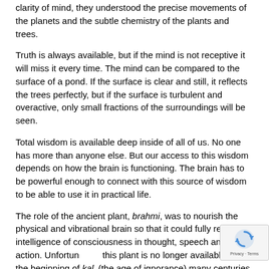clarity of mind, they understood the precise movements of the planets and the subtle chemistry of the plants and trees.
Truth is always available, but if the mind is not receptive it will miss it every time. The mind can be compared to the surface of a pond. If the surface is clear and still, it reflects the trees perfectly, but if the surface is turbulent and overactive, only small fractions of the surroundings will be seen.
Total wisdom is available deep inside of all of us. No one has more than anyone else. But our access to this wisdom depends on how the brain is functioning. The brain has to be powerful enough to connect with this source of wisdom to be able to use it in practical life.
The role of the ancient plant, brahmi, was to nourish the physical and vibrational brain so that it could fully reflect the intelligence of consciousness in thought, speech and action. Unfortunately, this plant is no longer available since the beginning of kali (the age of ignorance) many centuries ago.
[Figure (other): reCAPTCHA badge with rotating arrows icon and Privacy - Terms text]